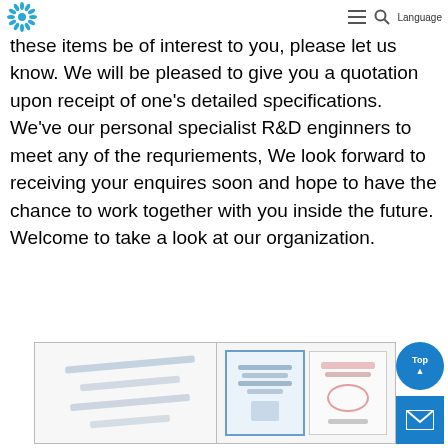Logo | Menu | Search | Language
,Adelaide ,Luxembourg ,Really should any of these items be of interest to you, please let us know. We will be pleased to give you a quotation upon receipt of one's detailed specifications. We've our personal specialist R&D enginners to meet any of the requriements, We look forward to receiving your enquires soon and hope to have the chance to work together with you inside the future. Welcome to take a look at our organization.
[Figure (photo): A document or certificate image, appears to be a form or letter with text lines]
[Figure (photo): Two certificates or official documents side by side, one appears blue-bordered and one with a red seal]